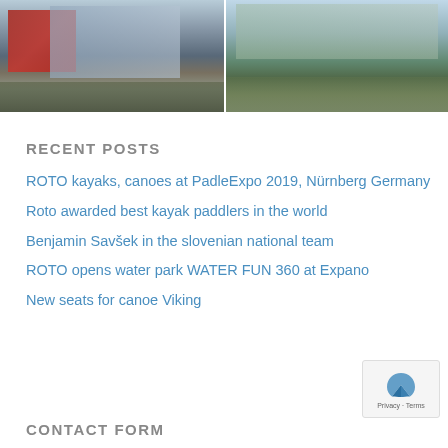[Figure (photo): Two exterior building photos side by side: left shows a modern building with red and glass facade, right shows industrial/commercial buildings with green roof and landscaping]
RECENT POSTS
ROTO kayaks, canoes at PadleExpo 2019, Nürnberg Germany
Roto awarded best kayak paddlers in the world
Benjamin Savšek in the slovenian national team
ROTO opens water park WATER FUN 360 at Expano
New seats for canoe Viking
CONTACT FORM